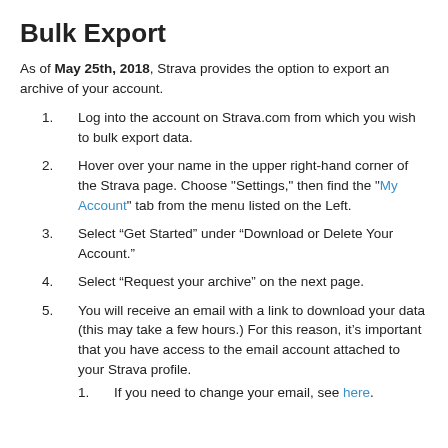Bulk Export
As of May 25th, 2018, Strava provides the option to export an archive of your account.
1. Log into the account on Strava.com from which you wish to bulk export data.
2. Hover over your name in the upper right-hand corner of the Strava page. Choose "Settings," then find the "My Account" tab from the menu listed on the Left.
3. Select “Get Started” under “Download or Delete Your Account.”
4. Select “Request your archive” on the next page.
5. You will receive an email with a link to download your data (this may take a few hours.) For this reason, it’s important that you have access to the email account attached to your Strava profile.
1. If you need to change your email, see here.